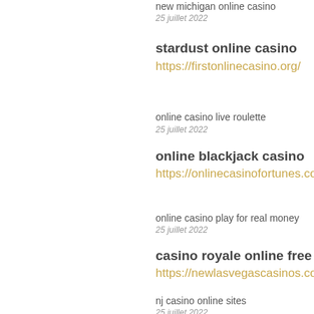new michigan online casino
25 juillet 2022
stardust online casino
https://firstonlinecasino.org/
online casino live roulette
25 juillet 2022
online blackjack casino
https://onlinecasinofortunes.com/
online casino play for real money
25 juillet 2022
casino royale online free
https://newlasvegascasinos.com/
nj casino online sites
25 juillet 2022